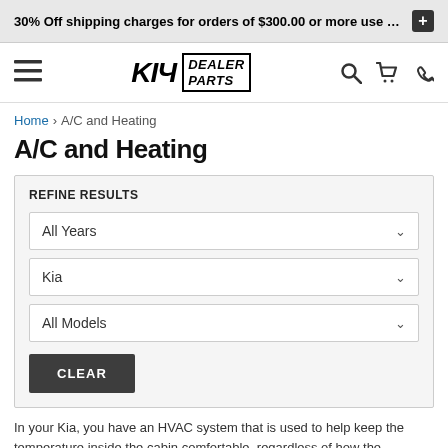30% Off shipping charges for orders of $300.00 or more use Prom
[Figure (logo): Kia dealer logo with hamburger menu, search, cart, and phone icons in navigation bar]
Home > A/C and Heating
A/C and Heating
REFINE RESULTS
All Years
Kia
All Models
CLEAR
In your Kia, you have an HVAC system that is used to help keep the temperature inside the cabin comfortable, regardless of how the